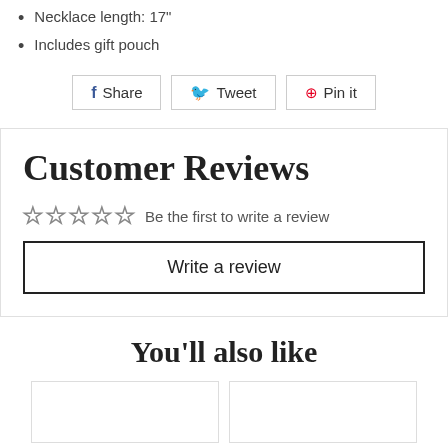Necklace length: 17"
Includes gift pouch
Share | Tweet | Pin it
Customer Reviews
☆☆☆☆☆ Be the first to write a review
Write a review
You'll also like